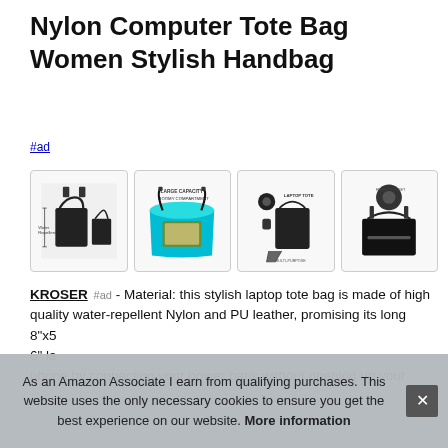Nylon Computer Tote Bag Women Stylish Handbag
#ad
[Figure (photo): Four product images of a black nylon computer tote bag: (1) bag with dimensions shown, (2) open bag showing teal interior with roomy compartment, (3) bag components/accessories detail, (4) front pocket view]
KROSER #ad - Material: this stylish laptop tote bag is made of high quality water-repellent Nylon and PU leather, promising its long... 8"x5... 6" la... phone by connecting your power bank without opening up your
As an Amazon Associate I earn from qualifying purchases. This website uses the only necessary cookies to ensure you get the best experience on our website. More information